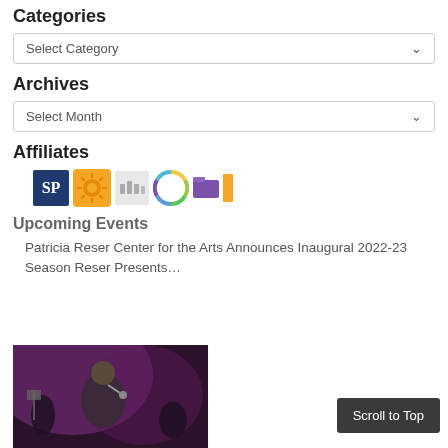Categories
Select Category
Archives
Select Month
Affiliates
[Figure (logo): Row of affiliate logos: SP logo, orange sunflower, gray Wagtail logo, colorful circle logo, purple folder and orange bar chart icons]
Upcoming Events
Patricia Reser Center for the Arts Announces Inaugural 2022-23 Season Reser Presents…
[Figure (photo): A performer on stage with a microphone, purple stage lighting, orchestra in background]
Scroll to Top